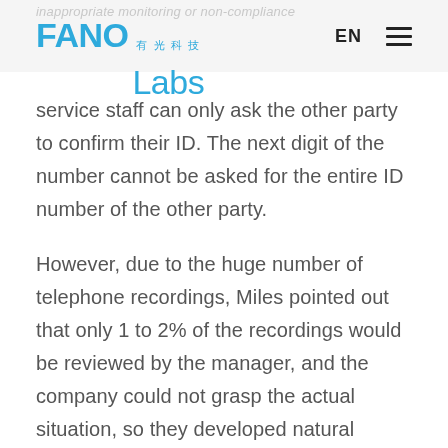inappropriate monitoring or non-compliance
[Figure (logo): FANO Labs logo with Chinese characters 有光科技, blue text, with EN language selector and hamburger menu on the right]
service staff can only ask the other party to confirm their ID. The next digit of the number cannot be asked for the entire ID number of the other party.
However, due to the huge number of telephone recordings, Miles pointed out that only 1 to 2% of the recordings would be reviewed by the manager, and the company could not grasp the actual situation, so they developed natural language processing technology (Natural Language Processing) to automatically analyze all the